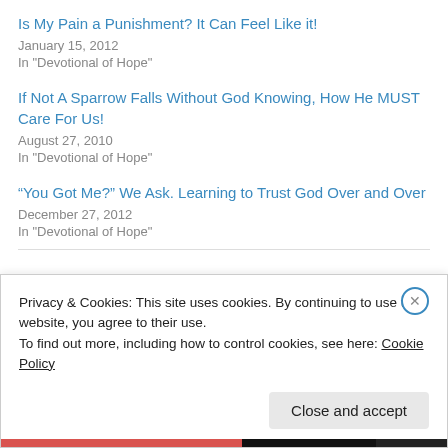Is My Pain a Punishment? It Can Feel Like it!
January 15, 2012
In "Devotional of Hope"
If Not A Sparrow Falls Without God Knowing, How He MUST Care For Us!
August 27, 2010
In "Devotional of Hope"
“You Got Me?” We Ask. Learning to Trust God Over and Over
December 27, 2012
In "Devotional of Hope"
Privacy & Cookies: This site uses cookies. By continuing to use this website, you agree to their use.
To find out more, including how to control cookies, see here: Cookie Policy
Close and accept